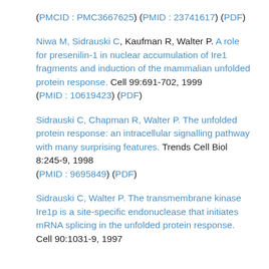(PMCID : PMC3667625) (PMID : 23741617) (PDF)
Niwa M, Sidrauski C, Kaufman R, Walter P. A role for presenilin-1 in nuclear accumulation of Ire1 fragments and induction of the mammalian unfolded protein response. Cell 99:691-702, 1999 (PMID : 10619423) (PDF)
Sidrauski C, Chapman R, Walter P. The unfolded protein response: an intracellular signalling pathway with many surprising features. Trends Cell Biol 8:245-9, 1998 (PMID : 9695849) (PDF)
Sidrauski C, Walter P. The transmembrane kinase Ire1p is a site-specific endonuclease that initiates mRNA splicing in the unfolded protein response. Cell 90:1031-9, 1997